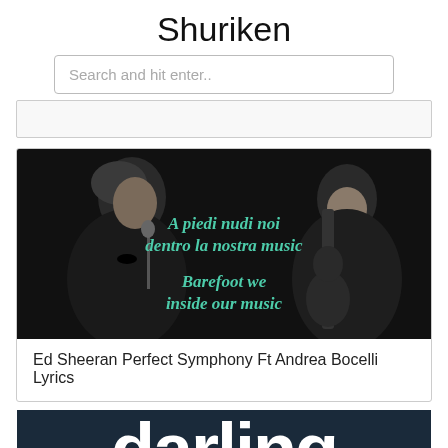Shuriken
[Figure (screenshot): Search input box with placeholder text 'Search and hit enter..']
[Figure (photo): Black and white photo of two musicians (Andrea Bocelli on left at microphone, Ed Sheeran on right with guitar) with teal italic text overlay reading 'A piedi nudi noi dentro la nostra music' and 'Barefoot we inside our music']
Ed Sheeran Perfect Symphony Ft Andrea Bocelli Lyrics
[Figure (photo): Partial view of bold white text reading 'darling' on a dark blue background]